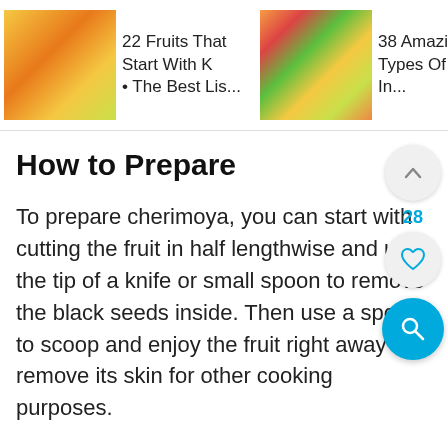[Figure (infographic): Top navigation strip with three related article thumbnails. Article 1: fruit thumbnail (citrus/kumquats) with text '22 Fruits That Start With K • The Best Lis...'. Article 2: tropical fruits thumbnail with text '38 Amazing Types Of Fruits In...'. Article 3: grapefruit thumbnail with text '14 Different Types Of Grapefruit' and a blue chevron arrow.]
How to Prepare
To prepare cherimoya, you can start with cutting the fruit in half lengthwise and use the tip of a knife or small spoon to remove the black seeds inside. Then use a spoon to scoop and enjoy the fruit right away or remove its skin for other cooking purposes.
[Figure (illustration): Small blue/teal heart icon overlaid on the text near 'black seeds inside.']
[Figure (infographic): Right side UI buttons: an up-arrow chevron circle button, a count '28' in cyan, a heart/like circle button, and a blue circle search/magnifying glass button.]